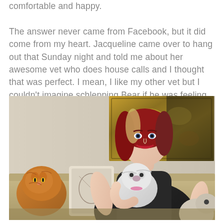comfortable and happy.

The answer never came from Facebook, but it did come from my heart. Jacqueline came over to hang out that Sunday night and told me about her awesome vet who does house calls and I thought that was perfect. I mean, I like my other vet but I couldn't imagine schlepping Bear if he was feeling so crappy. I'll spend $55 for an exam to find out if Bear is getting ready to go be with the goddess or if he has something easily treatable.
[Figure (photo): A woman with red-tipped blonde hair wearing a black dress, sitting on a beige couch, holding a small white fluffy dog. An orange Persian cat is to her left, and another small dog is partially visible on her right. A decorative tapestry hangs on the wall behind her.]